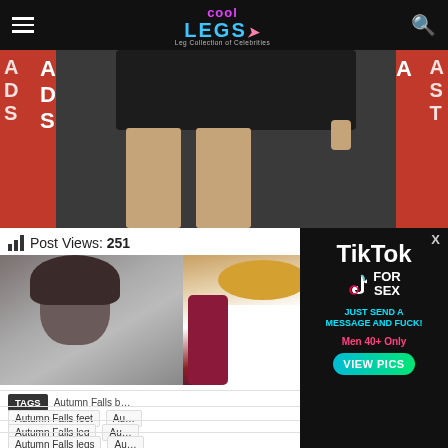Cool Legs - Leg Collection of Celebrities
[Figure (photo): Cropped photo of a person in black shorts, legs visible, with partial red signage on either side (ads backdrop)]
Post Views: 251
[Figure (photo): Thumbnail of a woman with dark hair, eyes closed, tilted pose]
[Figure (photo): Thumbnail of a blonde woman in a white top and burgundy jacket in a bar setting]
[Figure (advertisement): TikTok For Sex ad - Just Send A Message And FUCK! Men 40+ Only VIEW PICS]
TAGS  Autumn Falls b...
Autumn Falls feet
Autumn Falls leg
Autumn Falls legs
Autumn Falls legs upski...